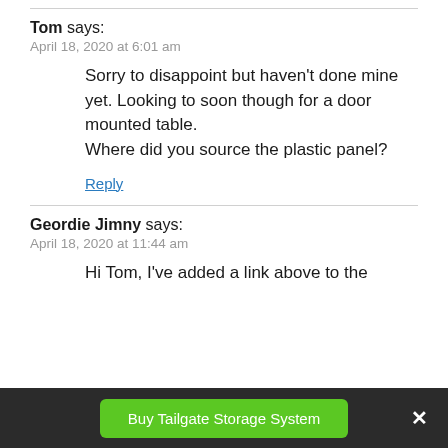Tom says:
April 18, 2020 at 6:01 am
Sorry to disappoint but haven't done mine yet. Looking to soon though for a door mounted table.
Where did you source the plastic panel?
Reply
Geordie Jimny says:
April 18, 2020 at 11:44 am
Hi Tom, I've added a link above to the
Buy Tailgate Storage System